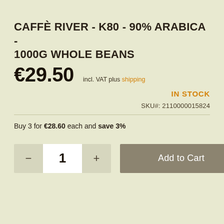CAFFÈ RIVER - K80 - 90% ARABICA - 1000G WHOLE BEANS
€29.50  incl. VAT plus shipping
IN STOCK
SKU#: 2110000015824
Buy 3 for €28.60 each and save 3%
- 1 + Add to Cart